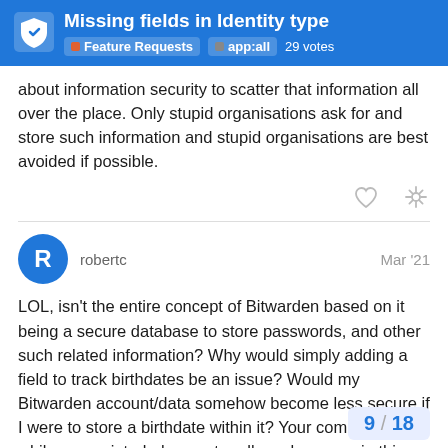Missing fields in Identity type | Feature Requests | app:all | 29 votes
about information security to scatter that information all over the place. Only stupid organisations ask for and store such information and stupid organisations are best avoided if possible.
robertc   Mar '21
LOL, isn't the entire concept of Bitwarden based on it being a secure database to store passwords, and other such related information? Why would simply adding a field to track birthdates be an issue? Would my Bitwarden account/data somehow become less secure if I were to store a birthdate within it? Your comment, while appreciated, does not really make sense in this context.
9 / 18